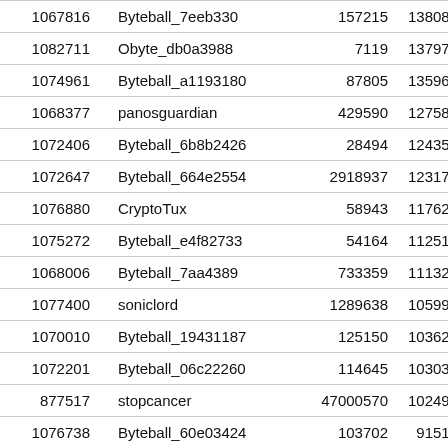| [id] | [username] | [col3] | [col4] |
| --- | --- | --- | --- |
| 1067816 | Byteball_7eeb330 | 157215 | 13808 |
| 1082711 | Obyte_db0a3988 | 7119 | 13797 |
| 1074961 | Byteball_a1193180 | 87805 | 13596 |
| 1068377 | panosguardian | 429590 | 12758 |
| 1072406 | Byteball_6b8b2426 | 28494 | 12435 |
| 1072647 | Byteball_664e2554 | 2918937 | 12317 |
| 1076880 | CryptoTux | 58943 | 11762 |
| 1075272 | Byteball_e4f82733 | 54164 | 11251 |
| 1068006 | Byteball_7aa4389 | 733359 | 11132 |
| 1077400 | soniclord | 1289638 | 10599 |
| 1070010 | Byteball_19431187 | 125150 | 10362 |
| 1072201 | Byteball_06c22260 | 114645 | 10303 |
| 877517 | stopcancer | 47000570 | 10249 |
| 1076738 | Byteball_60e03424 | 103702 | 9151 |
| 1074260 | Byteball_d7d03085 | 21280058 | 7429 |